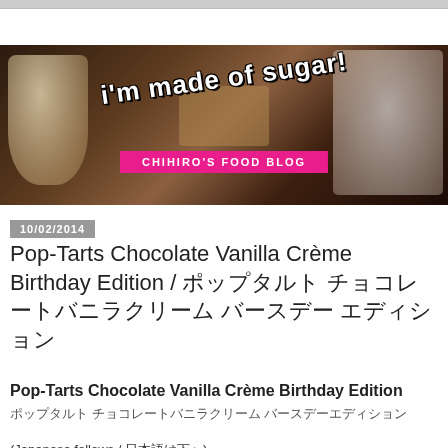[Figure (photo): Blog header banner reading "i'm made of sugar! - CHIHIRO'S FOOD BLOG" with food photography background showing desserts, fruit cup, s'mores, and a layered cake with strawberries]
10/02/2014
Pop-Tarts Chocolate Vanilla Crème Birthday Edition / ポップタルト チョコレートバニラクリーム バースデー エディション
Pop-Tarts Chocolate Vanilla Crème Birthday Edition
ポップタルト チョコレートバニラクリーム バースデーエディション
(Japanese follows / 日本語は下へ)